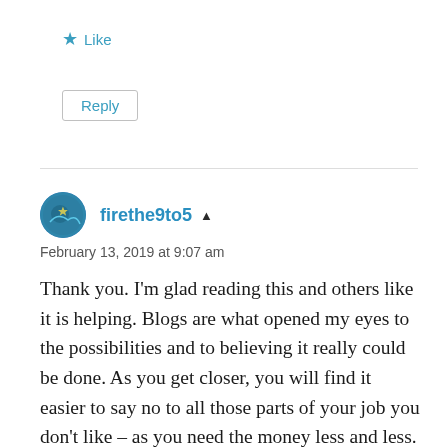★ Like
Reply
firethe9to5 ▲
February 13, 2019 at 9:07 am
Thank you. I'm glad reading this and others like it is helping. Blogs are what opened my eyes to the possibilities and to believing it really could be done. As you get closer, you will find it easier to say no to all those parts of your job you don't like – as you need the money less and less.